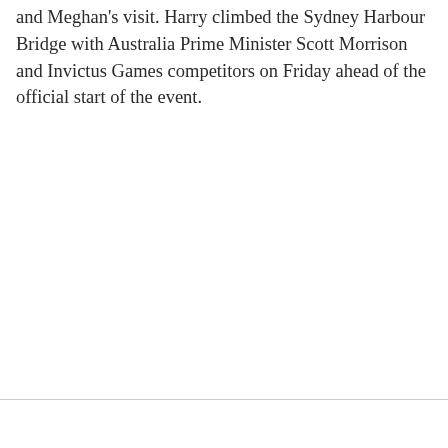and Meghan's visit. Harry climbed the Sydney Harbour Bridge with Australia Prime Minister Scott Morrison and Invictus Games competitors on Friday ahead of the official start of the event.